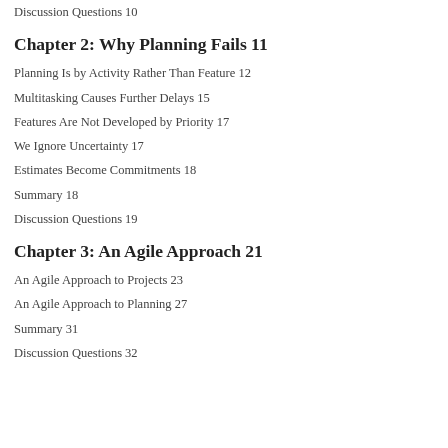Discussion Questions 10
Chapter 2: Why Planning Fails 11
Planning Is by Activity Rather Than Feature 12
Multitasking Causes Further Delays 15
Features Are Not Developed by Priority 17
We Ignore Uncertainty 17
Estimates Become Commitments 18
Summary 18
Discussion Questions 19
Chapter 3: An Agile Approach 21
An Agile Approach to Projects 23
An Agile Approach to Planning 27
Summary 31
Discussion Questions 32